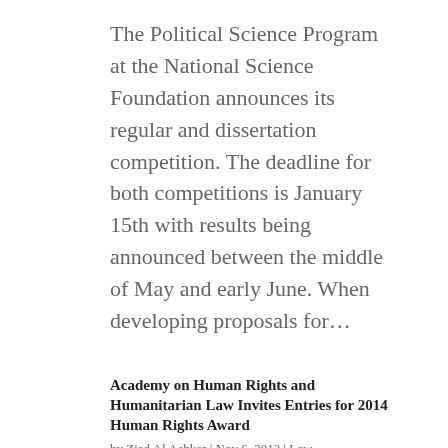The Political Science Program at the National Science Foundation announces its regular and dissertation competition. The deadline for both competitions is January 15th with results being announced between the middle of May and early June. When developing proposals for...
Academy on Human Rights and Humanitarian Law Invites Entries for 2014 Human Rights Award
by Ziad Al Achkar | Nov 6, 2013 | Law
The Academy on Human Rights and Humanitarian Law at American University's Washington College of Law is accepting entries for the 2014 Human Rights Essay Award...